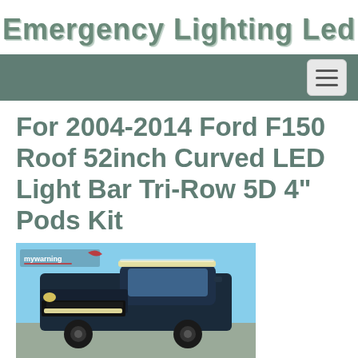Emergency Lighting Led
For 2004-2014 Ford F150 Roof 52inch Curved LED Light Bar Tri-Row 5D 4" Pods Kit
[Figure (photo): Photo of a dark blue Ford F150 pickup truck with a curved LED light bar mounted on the roof and another LED light bar mounted on the front grille, photographed outdoors against a blue sky. A branding logo reading 'mywarning' is visible in the upper left of the image.]